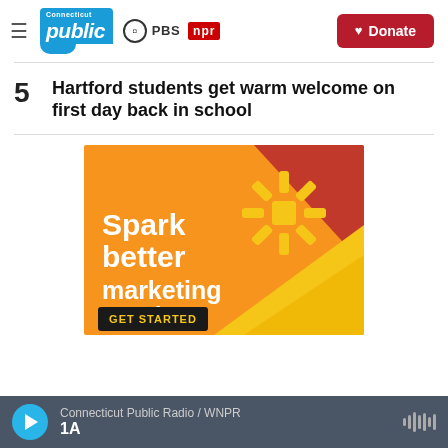Connecticut Public | PBS | NPR — Donate
5  Hartford students get warm welcome on first day back in school
[Figure (infographic): Orange and red advertisement banner reading 'Spark better marketing results.' with a golden sunburst icon and a 'GET STARTED' button]
Connecticut Public Radio / WNPR | 1A